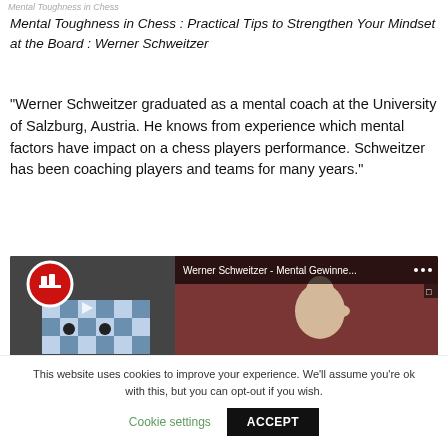Mental Toughness in Chess
Mental Toughness in Chess : Practical Tips to Strengthen Your Mindset at the Board : Werner Schweitzer
“Werner Schweitzer graduated as a mental coach at the University of Salzburg, Austria. He knows from experience which mental factors have impact on a chess players performance. Schweitzer has been coaching players and teams for many years.”
[Figure (screenshot): YouTube video thumbnail showing Werner Schweitzer - Mental Gewinne... with a chess board on the left and a person on the right, with a chess channel logo]
This website uses cookies to improve your experience. We’ll assume you’re ok with this, but you can opt-out if you wish.
Cookie settings  ACCEPT